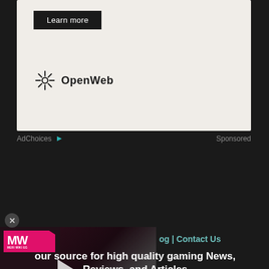[Figure (screenshot): Ad banner with 'Learn more' button and OpenWeb logo on light beige background]
AdChoices ▷    Sponsored
[Figure (screenshot): Video thumbnail for 'Best Retro Switch Games' with MW logo, play button, and game characters]
og | Contact Us
our source for high quality gaming News, Reviews, and Articles